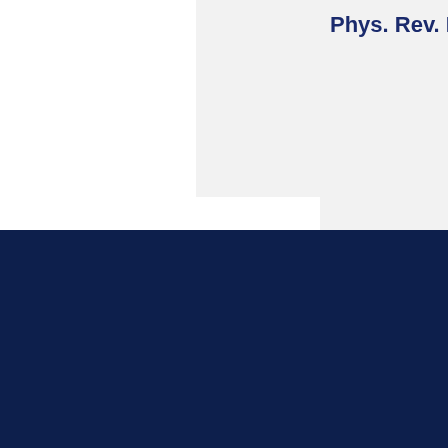Phys. Rev. B 4
Library | User portal | Site maps | Events | Safety | Staff login | Legal/Credits | Feedback | Cookies | Manage | Contacts | subscription | Staff web pages